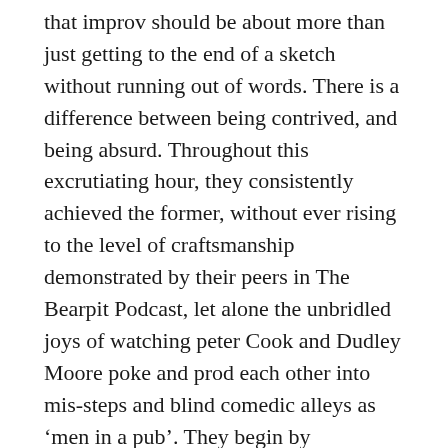that improv should be about more than just getting to the end of a sketch without running out of words. There is a difference between being contrived, and being absurd. Throughout this excrutiating hour, they consistently achieved the former, without ever rising to the level of craftsmanship demonstrated by their peers in The Bearpit Podcast, let alone the unbridled joys of watching peter Cook and Dudley Moore poke and prod each other into mis-steps and blind comedic alleys as 'men in a pub'. They begin by committing the cardinal sin of improv, taking the audience's suggestion, and changing it to suit their needs.
“Give us a word!” they cry, “Niche!” comes the response. “We’ll go with quiche” they